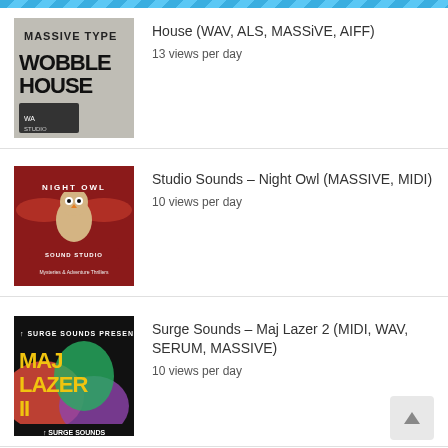[Figure (screenshot): Webpage listing showing music sample packs. Three items visible: Wobble House (WAV, ALS, MASSiVE, AIFF) with 13 views per day, Studio Sounds Night Owl (MASSIVE, MIDI) with 10 views per day, and Surge Sounds Maj Lazer 2 (MIDI, WAV, SERUM, MASSIVE) with 10 views per day. Each item has a thumbnail image on the left and title/views text on the right.]
House (WAV, ALS, MASSiVE, AIFF)
13 views per day
Studio Sounds – Night Owl (MASSIVE, MIDI)
10 views per day
Surge Sounds – Maj Lazer 2 (MIDI, WAV, SERUM, MASSIVE)
10 views per day